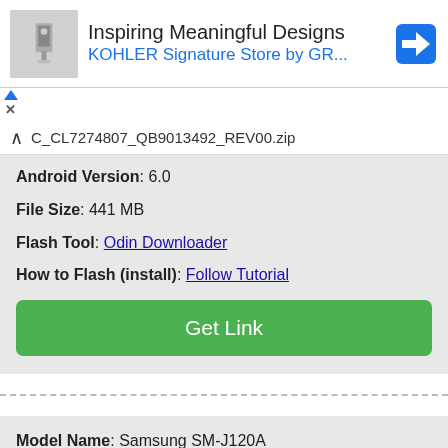[Figure (screenshot): Advertisement banner for KOHLER Signature Store with product image and navigation icon]
C_CL7274807_QB9013492_REV00.zip
Android Version: 6.0
File Size: 441 MB
Flash Tool: Odin Downloader
How to Flash (install): Follow Tutorial
Get Link
Model Name: Samsung SM-J120A
Device Full Name: Samsung Galaxy Express 3 SM-J120A